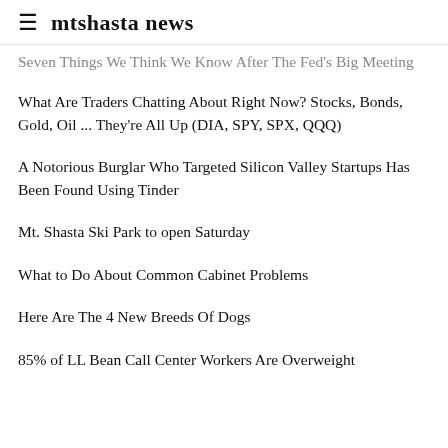≡ mtshasta news
Seven Things We Think We Know After The Fed's Big Meeting
What Are Traders Chatting About Right Now? Stocks, Bonds, Gold, Oil ... They're All Up (DIA, SPY, SPX, QQQ)
A Notorious Burglar Who Targeted Silicon Valley Startups Has Been Found Using Tinder
Mt. Shasta Ski Park to open Saturday
What to Do About Common Cabinet Problems
Here Are The 4 New Breeds Of Dogs
85% of LL Bean Call Center Workers Are Overweight